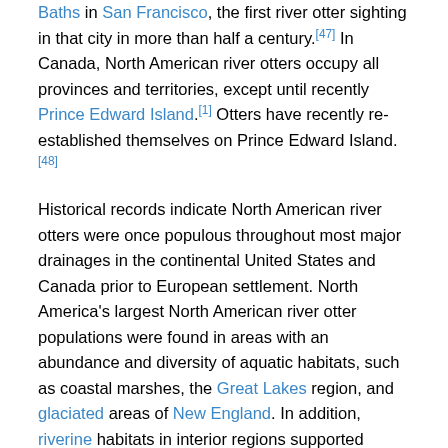Baths in San Francisco, the first river otter sighting in that city in more than half a century.[47] In Canada, North American river otters occupy all provinces and territories, except until recently Prince Edward Island.[1] Otters have recently re-established themselves on Prince Edward Island.[48]
Historical records indicate North American river otters were once populous throughout most major drainages in the continental United States and Canada prior to European settlement. North America's largest North American river otter populations were found in areas with an abundance and diversity of aquatic habitats, such as coastal marshes, the Great Lakes region, and glaciated areas of New England. In addition, riverine habitats in interior regions supported smaller, but practical, otter populations.[1] The North American river otter existed on all parts of the Pacific Coast, including the seashore and inland streams and lakes.[49] However, large populations never occurred in areas of Southern California such as the chaparral and oak woodlands and Mojave Desert seasonal waterway regions, or